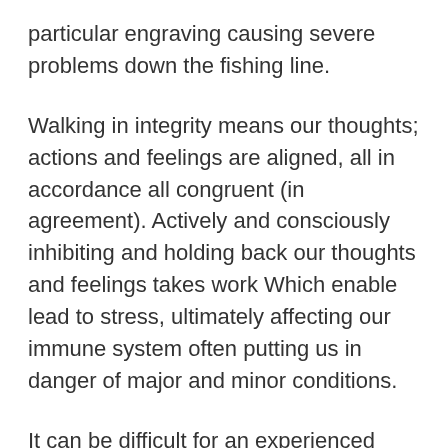particular engraving causing severe problems down the fishing line.
Walking in integrity means our thoughts; actions and feelings are aligned, all in accordance all congruent (in agreement). Actively and consciously inhibiting and holding back our thoughts and feelings takes work Which enable lead to stress, ultimately affecting our immune system often putting us in danger of major and minor conditions.
It can be difficult for an experienced engraver to detect regular of a product before the cutting gets going. An item made from a poor metal alloy covered having a gold plating will as well as feel real nice nonetheless the